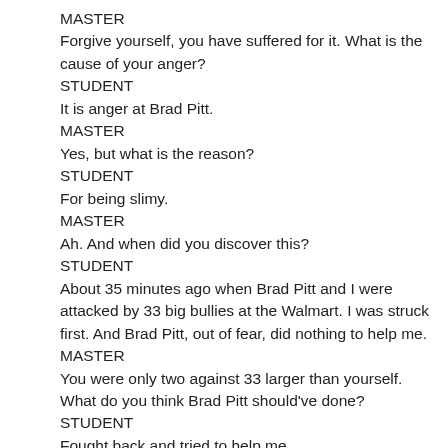MASTER
Forgive yourself, you have suffered for it. What is the cause of your anger?
STUDENT
It is anger at Brad Pitt.
MASTER
Yes, but what is the reason?
STUDENT
For being slimy.
MASTER
Ah. And when did you discover this?
STUDENT
About 35 minutes ago when Brad Pitt and I were attacked by 33 big bullies at the Walmart. I was struck first. And Brad Pitt, out of fear, did nothing to help me.
MASTER
You were only two against 33 larger than yourself. What do you think Brad Pitt should've done?
STUDENT
Fought back and tried to help me.
MASTER
Yes, fish, that would've been heroic.
STUDENT